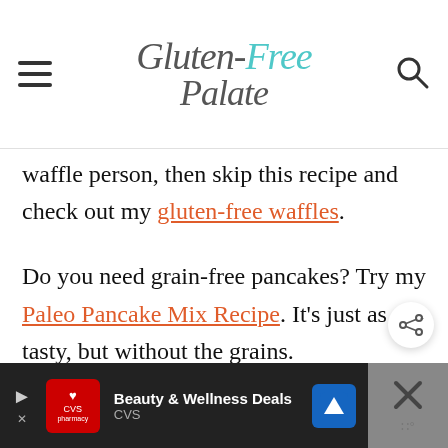Gluten-Free Palate
waffle person, then skip this recipe and check out my gluten-free waffles.
Do you need grain-free pancakes? Try my Paleo Pancake Mix Recipe. It's just as tasty, but without the grains.
[Figure (screenshot): CVS Beauty & Wellness Deals advertisement banner at bottom of page]